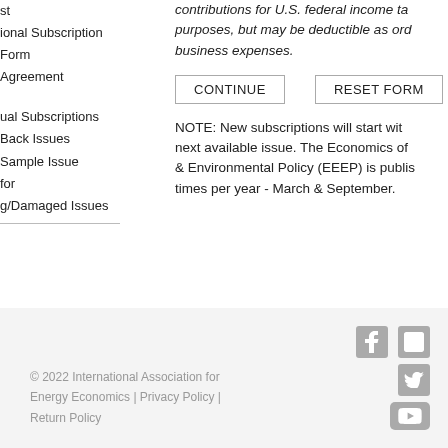st
ional Subscription Form
Agreement
ual Subscriptions
Back Issues
Sample Issue
for
g/Damaged Issues
contributions for U.S. federal income tax purposes, but may be deductible as ordinary business expenses.
CONTINUE   RESET FORM
NOTE: New subscriptions will start with the next available issue. The Economics of Energy & Environmental Policy (EEEP) is published times per year - March & September.
© 2022 International Association for Energy Economics | Privacy Policy | Return Policy